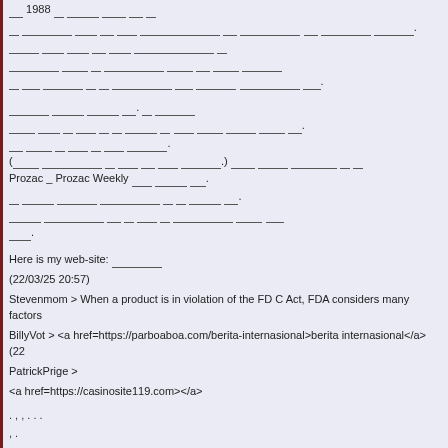___ 1988 __ ______ _____ ___ __
___ _________ _____ __ ___ ____________ __ __________ __ ________ ________.
_____ ___ ___ __ _____ __________________ __
___________ _____ __ _________ _____ ___ _____ ________
__ ____ _______ __ __ ____________ ___ _______ _____________ ____.
________ _______ _______ ___. __ _________
_____ ____ __ ___ __ __ _______ __ ___ _____ ______ _____.
___ _____ __ ____ __ ____ _________.
(_______ ________________ __ _____ ___ _____ _________.) _____ _______ ________ __ __
Prozac _ Prozac Weekly ___ ______ ___.
__ ______ _______ __________ __ __ _______ _____.
________ _____________ ___ __ ____ __ ___________ _____ ___
_____.
Here is my web-site: ________
(22/03/25 20:57)
Stevenmom > When a product is in violation of the FD C Act, FDA considers many factors
BillyVot > <a href=https://parboaboa.com/berita-internasional>berita internasional</a> (22
PatrickPrige >
<a href=https://casinosite119.com></a>
. , , . . .
, .
100% .
(22/03/25 22:34)
tefanfeS > На странице <a href=https://tochnonado.blogspot.com/p/blog-page-16.html>b